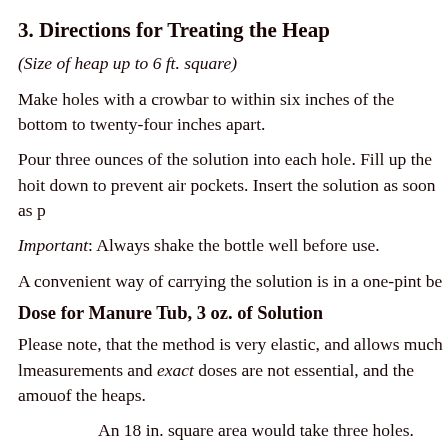3. Directions for Treating the Heap
(Size of heap up to 6 ft. square)
Make holes with a crowbar to within six inches of the bottom to twenty-four inches apart.
Pour three ounces of the solution into each hole. Fill up the hole, tamp it down to prevent air pockets. Insert the solution as soon as possible.
Important: Always shake the bottle well before use.
A convenient way of carrying the solution is in a one-pint beer bottle.
Dose for Manure Tub, 3 oz. of Solution
Please note, that the method is very elastic, and allows much latitude; measurements and exact doses are not essential, and the amount depends on the size of the heaps.
An 18 in. square area would take three holes.
A 4 ft. x 3 ft. area, would take five holes.
A 6 ft. x 6 ft. area, would take seven holes.
4. Point of Particular Action